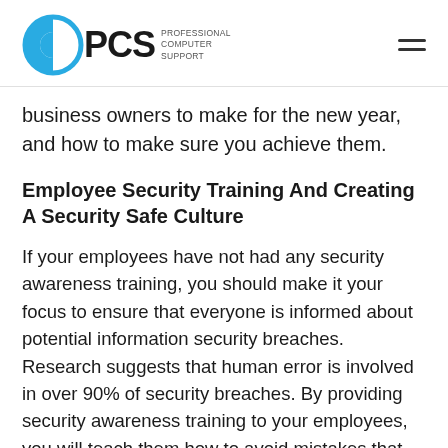PCS Professional Computer Support
business owners to make for the new year, and how to make sure you achieve them.
Employee Security Training And Creating A Security Safe Culture
If your employees have not had any security awareness training, you should make it your focus to ensure that everyone is informed about potential information security breaches. Research suggests that human error is involved in over 90% of security breaches. By providing security awareness training to your employees, you will teach them how to avoid mistakes that could leave the business at risk. Not only will this help